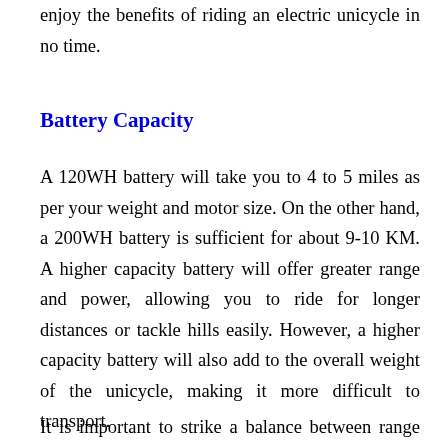enjoy the benefits of riding an electric unicycle in no time.
Battery Capacity
A 120WH battery will take you to 4 to 5 miles as per your weight and motor size. On the other hand, a 200WH battery is sufficient for about 9-10 KM. A higher capacity battery will offer greater range and power, allowing you to ride for longer distances or tackle hills easily. However, a higher capacity battery will also add to the overall weight of the unicycle, making it more difficult to transport.
It is important to strike a balance between range and